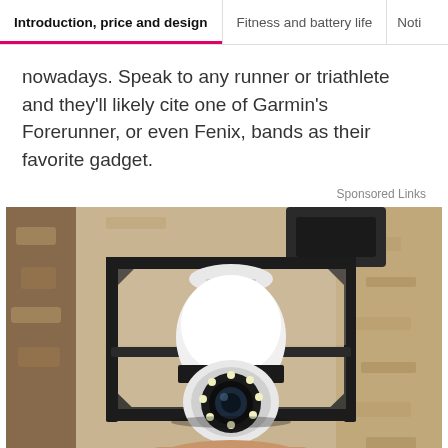Introduction, price and design | Fitness and battery life | Noti
nowadays. Speak to any runner or triathlete and they'll likely cite one of Garmin's Forerunner, or even Fenix, bands as their favorite gadget.
Sponsored Links
[Figure (photo): A security camera shaped like a light bulb installed in an outdoor lantern-style wall fixture, mounted on a textured stucco wall. The bulb camera has a circular lens with LED ring at the bottom.]